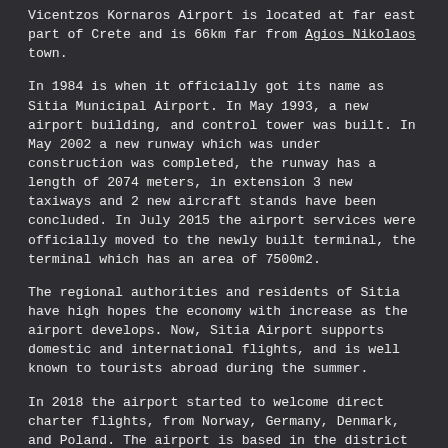Vicentzos Kornaros Airport is located at far east part of Crete and is 66km far from Agios Nikolaos town.
In 1984 is when it officially got its name as Sitia Municipal Airport. In May 1993, a new airport building, and control tower was built. In May 2002 a new runway which was under construction was completed, the runway has a length of 2074 meters, in extension 3 new taxiways and 2 new aircraft stands have been concluded. In July 2015 the airport services were officially moved to the newly built terminal, the terminal which has an area of 7500m2.
The regional authorities and residents of Sitia have high hopes the economy with increase as the airport develops. Now, Sitia Airport supports domestic and international flights, and is well known to tourists abroad during the summer.
In 2018 the airport started to welcome direct charter flights, from Norway, Germany, Denmark, and Poland. The airport is based in the district of Lasithi, and it is only 1 km North-East of the city-Centre of Sitia.
It is very convenient for last-minute shopping before you head to the airport, and not only, the airport has easy entry to main roads, with access to all sites of interest throughout the region.